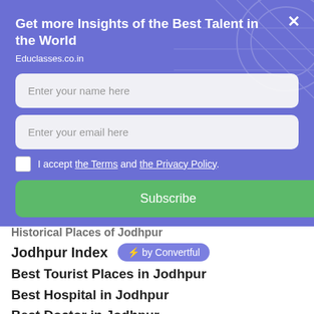Get more Insights of the Best Talent in the World
Educlasses.co.in
[Figure (screenshot): Modal popup form with name field, email field, checkbox for Terms and Privacy Policy, and a Subscribe button on a purple/blue background]
Historical Places of Jodhpur
Jodhpur Index
Best Tourist Places in Jodhpur
Best Hospital in Jodhpur
Best Doctor in Jodhpur
Best College and University in Jodhpur
Best Pre-Schools, Post-Schools, Kindergarten in Jodhpur